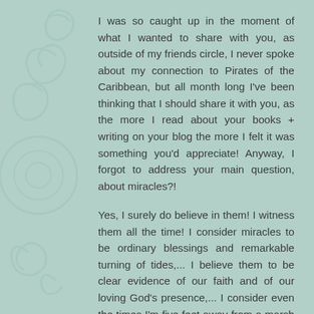I was so caught up in the moment of what I wanted to share with you, as outside of my friends circle, I never spoke about my connection to Pirates of the Caribbean, but all month long I've been thinking that I should share it with you, as the more I read about your books + writing on your blog the more I felt it was something you'd appreciate! Anyway, I forgot to address your main question, about miracles?!
Yes, I surely do believe in them! I witness them all the time! I consider miracles to be ordinary blessings and remarkable turning of tides,... I believe them to be clear evidence of our faith and of our loving God's presence,... I consider even the times I'm five feet away from a marsh rabbit hidden in a cypress thicket to be a miracle! To stand in his presence in his own habitat without interference,... that's a beautiful miracle! I think my story about the Curse of the Black Pearl is also a story of a hidden miracle,... how God inspired me to become attached to a motion